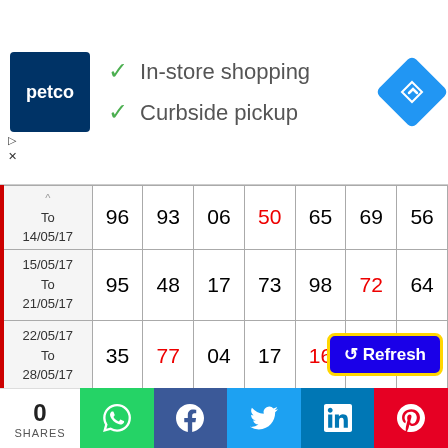[Figure (screenshot): Petco advertisement banner with logo, checkmarks for In-store shopping and Curbside pickup, and a navigation icon]
| Date range |  |  |  |  |  |  |  |
| --- | --- | --- | --- | --- | --- | --- | --- |
| To
14/05/17 | 96 | 93 | 06 | 50 | 65 | 69 | 56 |
| 15/05/17
To
21/05/17 | 95 | 48 | 17 | 73 | 98 | 72 | 64 |
| 22/05/17
To
28/05/17 | 35 | 77 | 04 | 17 | 16 | 14 | 40 |
| 29/05/17
To
05/06/17 | 68 | 73 | @ | 03 | 28 | 37 | 45 |
| 05/06/17
To
11/06/17 | 15 | 42 | 25 | 17 | 45 | 42 | 23 |
| 12/06/17
... | 85 | 56 | 80 | 04 | 40 | 80 | 45 |
0 SHARES | WhatsApp | Facebook | Twitter | LinkedIn | Pinterest